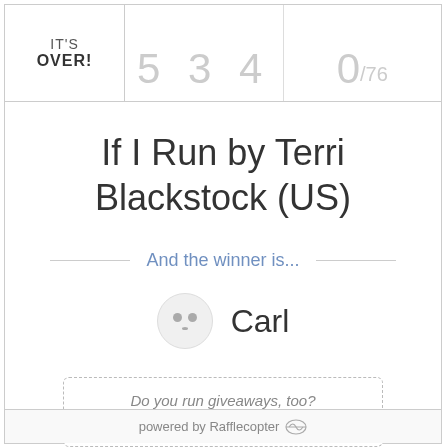IT'S OVER! 5 3 4  0/76
If I Run by Terri Blackstock (US)
And the winner is...
Carl
Do you run giveaways, too? Try Rafflecopter! It's free.
powered by Rafflecopter